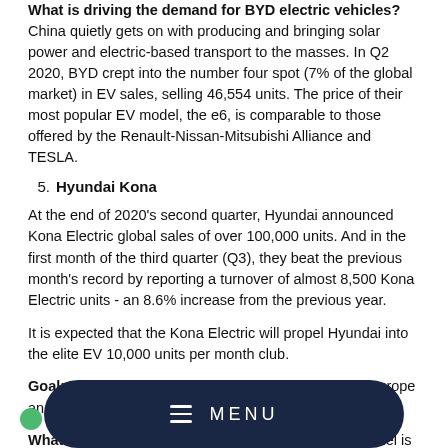What is driving the demand for BYD electric vehicles? China quietly gets on with producing and bringing solar power and electric-based transport to the masses. In Q2 2020, BYD crept into the number four spot (7% of the global market) in EV sales, selling 46,554 units. The price of their most popular EV model, the e6, is comparable to those offered by the Renault-Nissan-Mitsubishi Alliance and TESLA.
5. Hyundai Kona
At the end of 2020's second quarter, Hyundai announced Kona Electric global sales of over 100,000 units. And in the first month of the third quarter (Q3), they beat the previous month's record by reporting a turnover of almost 8,500 Kona Electric units - an 8.6% increase from the previous year.
It is expected that the Kona Electric will propel Hyundai into the elite EV 10,000 units per month club.
Goal: To keep the demand for Kona Electrics high in Europe and delivering on sales and aftersales service.
What is driving the demand for Kona EV's? The model is in direct competition with Tesla Model 3. The driving force behind Kona EV sales is the high specification it offers... over the interior trimmings and fittings. For its selling price, they could buy...